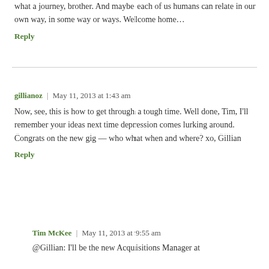what a journey, brother. And maybe each of us humans can relate in our own way, in some way or ways. Welcome home…
Reply
gillianoz | May 11, 2013 at 1:43 am
Now, see, this is how to get through a tough time. Well done, Tim, I'll remember your ideas next time depression comes lurking around. Congrats on the new gig — who what when and where? xo, Gillian
Reply
Tim McKee | May 11, 2013 at 9:55 am
@Gillian: I'll be the new Acquisitions Manager at